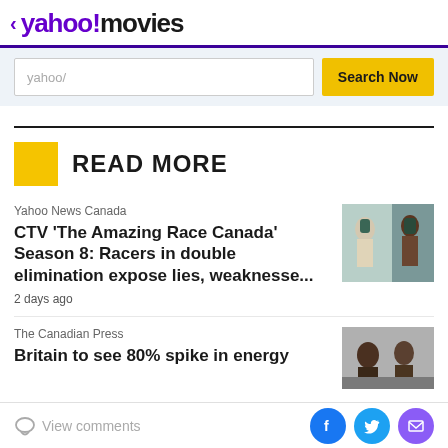< yahoo!movies
[Figure (screenshot): Search bar with 'yahoo!' placeholder text and 'Search Now' yellow button]
READ MORE
Yahoo News Canada
CTV 'The Amazing Race Canada' Season 8: Racers in double elimination expose lies, weaknesse...
2 days ago
[Figure (photo): Two racers with backpacks on Amazing Race Canada]
The Canadian Press
Britain to see 80% spike in energy
[Figure (photo): Two people seated indoors for The Canadian Press article]
View comments | Facebook | Twitter | Email social share buttons